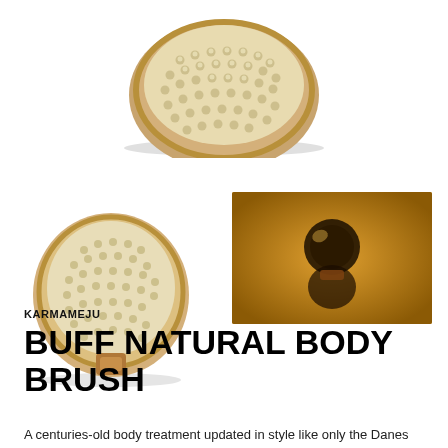[Figure (photo): Large round wooden body brush with cream/ivory natural bristles viewed from above at slight angle, white background]
[Figure (photo): Small round natural bristle body brush with wooden/copper handle clip, viewed from front, white background]
[Figure (photo): Close-up product photo of brush detail with warm golden/amber background lighting]
KARMAMEJU
BUFF NATURAL BODY BRUSH
A centuries-old body treatment updated in style like only the Danes know